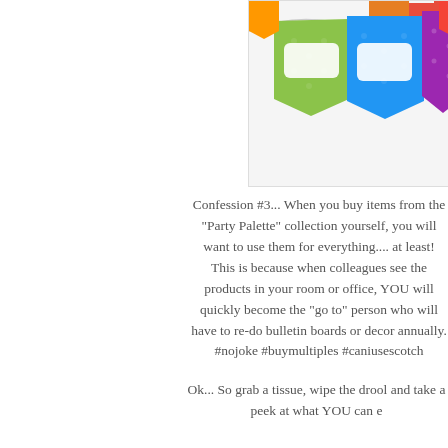[Figure (illustration): Colorful party banner flags (bunting) with polka dot patterns in green, blue, purple, orange, and red colors, with white label rectangles on each flag]
Confession #3... When you buy items from the "Party Palette" collection yourself, you will want to use them for everything.... at least!  This is because when colleagues see the products in your room or office, YOU will quickly become the "go to" person who will have to re-do bulletin boards or decor annually. #nojoke #buymultiples #caniusescotch
Ok... So grab a tissue, wipe the drool and take a peek at what YOU can e